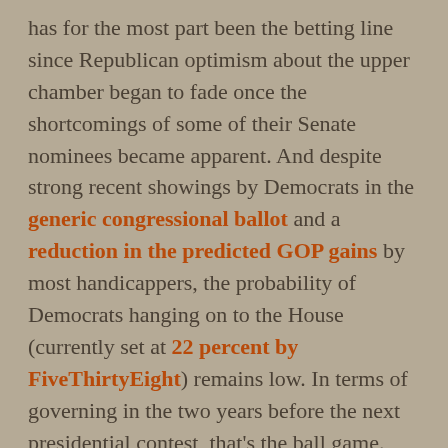has for the most part been the betting line since Republican optimism about the upper chamber began to fade once the shortcomings of some of their Senate nominees became apparent. And despite strong recent showings by Democrats in the generic congressional ballot and a reduction in the predicted GOP gains by most handicappers, the probability of Democrats hanging on to the House (currently set at 22 percent by FiveThirtyEight) remains low. In terms of governing in the two years before the next presidential contest, that's the ball game. Without the trifecta it now enjoys, Joe Biden's party won't be able to get much done other than confirm presidential appointees, assuming it does control the Senate. That's not nothing, but it portends a stretch of time when it is mostly focused on 2024 and preventing a MAGA reconquest of the White House by Trump or DeSantis or some other scary figure. It really doesn't matter how many senators it has if Kevin